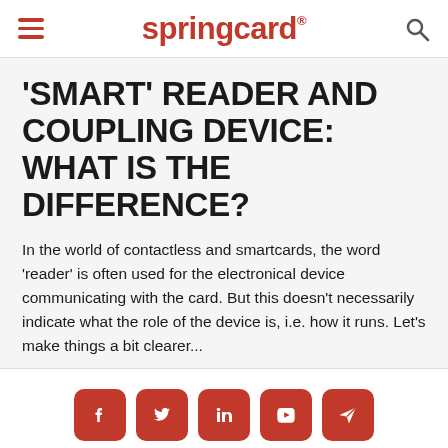springcard®
'SMART' READER AND COUPLING DEVICE: WHAT IS THE DIFFERENCE?
In the world of contactless and smartcards, the word 'reader' is often used for the electronical device communicating with the card. But this doesn't necessarily indicate what the role of the device is, i.e. how it runs. Let's make things a bit clearer...
[Figure (infographic): Row of 5 red social media icons: Facebook, Twitter, LinkedIn, YouTube, and a send/paper-plane icon]